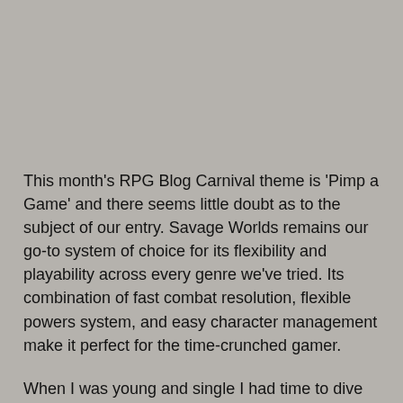This month's RPG Blog Carnival theme is 'Pimp a Game' and there seems little doubt as to the subject of our entry. Savage Worlds remains our go-to system of choice for its flexibility and playability across every genre we've tried. Its combination of fast combat resolution, flexible powers system, and easy character management make it perfect for the time-crunched gamer.
When I was young and single I had time to dive into endless tomes and supplements finding that just right combination of abilities and skills for my character concept. Too often, however, I was playing someone else's character concept that I had to shoe-horn an idea into. Still, that was fine. I had time and friends.